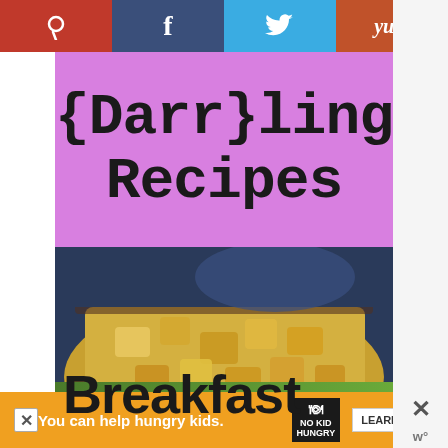[Figure (infographic): Social sharing bar with Pinterest (red), Facebook (dark blue), Twitter (light blue), and Yummly (orange-red) buttons across the top]
{Darr}ling Recipes
[Figure (photo): Close-up photo of a breakfast casserole with cubed bread and egg in a glass baking dish, with the word 'Breakfast' overlaid in large bold text]
[Figure (infographic): Orange advertisement banner: 'You can help hungry kids.' with No Kid Hungry logo and LEARN HOW button]